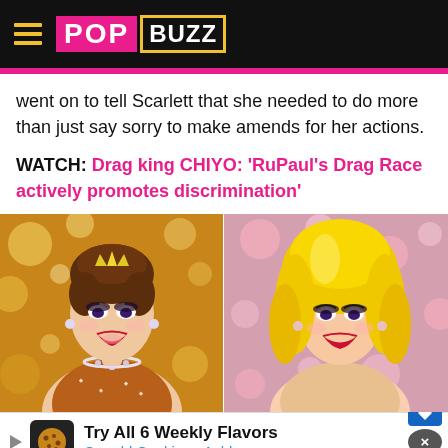PopBuzz
went on to tell Scarlett that she needed to do more than just say sorry to make amends for her actions.
WATCH: Drag king CHIYO: 'RuPaul's Drag Race actively promotes discrimination'
[Figure (photo): Two drag performers side by side: left performer with brown updo, heavy glamour makeup, red lips, sparkly dress and diamond necklace on gold bokeh background; right performer with long bright yellow wig, red lips, dramatic eye makeup on pink bokeh background.]
Try All 6 Weekly Flavors Crumbl Cookies - Ashburn